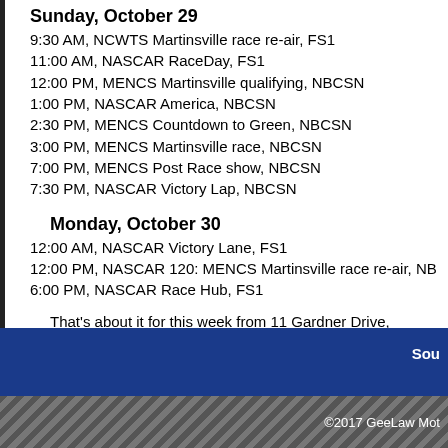Sunday, October 29
9:30 AM, NCWTS Martinsville race re-air, FS1
11:00 AM, NASCAR RaceDay, FS1
12:00 PM, MENCS Martinsville qualifying, NBCSN
1:00 PM, NASCAR America, NBCSN
2:30 PM, MENCS Countdown to Green, NBCSN
3:00 PM, MENCS Martinsville race, NBCSN
7:00 PM, MENCS Post Race show, NBCSN
7:30 PM, NASCAR Victory Lap, NBCSN
Monday, October 30
12:00 AM, NASCAR Victory Lane, FS1
12:00 PM, NASCAR 120: MENCS Martinsville race re-air, NB
6:00 PM, NASCAR Race Hub, FS1
That's about it for this week from 11 Gardner Drive, Westerb E-mail: smithpe_97_97@yahoo.com.
Phil Smith has been a c other pul
Sou
©2017 GeeLaw Mot